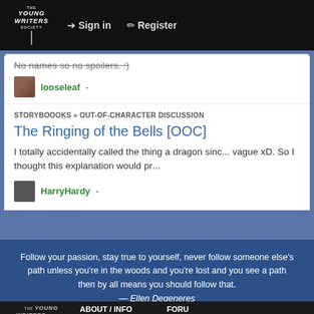Young Writers Society | Sign in | Register
No names so no spoilers. :)
looseleaf -
STORYBOOOKS » OUT-OF-CHARACTER DISCUSSION
The Ringing of the Bells [OOC]
I totally accidentally called the thing a dragon sinc... vague xD. So I thought this explanation would pr...
HarryHardy -
Follow your passion, stay true to yourself, never follow someone else's path unless you're in the woods and you're lost and you see a path then by all means you should follow that.
— Ellen Degeneres
ABOUT / INFO | About Us | FORU... | Welco... | Copyright © 2022